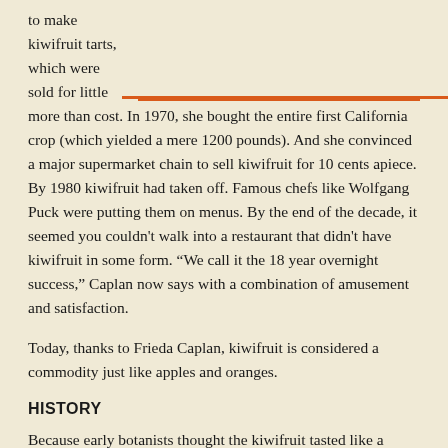to make kiwifruit tarts, which were sold for little more than cost. In 1970, she bought the entire first California crop (which yielded a mere 1200 pounds). And she convinced a major supermarket chain to sell kiwifruit for 10 cents apiece.
By 1980 kiwifruit had taken off. Famous chefs like Wolfgang Puck were putting them on menus. By the end of the decade, it seemed you couldn't walk into a restaurant that didn't have kiwifruit in some form. “We call it the 18 year overnight success,” Caplan now says with a combination of amusement and satisfaction.
Today, thanks to Frieda Caplan, kiwifruit is considered a commodity just like apples and oranges.
HISTORY
Because early botanists thought the kiwifruit tasted like a gooseberry and because it was discovered in the Chang Kiang Valley of China, it was called the Chinese gooseberry.